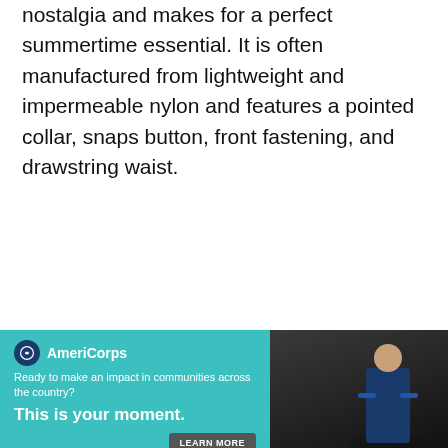nostalgia and makes for a perfect summertime essential. It is often manufactured from lightweight and impermeable nylon and features a pointed collar, snaps button, front fastening, and drawstring waist.
Related Topics: Best Leather Jackets Brands
[Figure (other): AmeriCorps advertisement banner with teal background. Logo shows AmeriCorps name with circular icon. Text reads: 'Ready to make an impact in communities across the country? This is your moment.' with a LEARN MORE button. Right side shows a partial image of a person.]